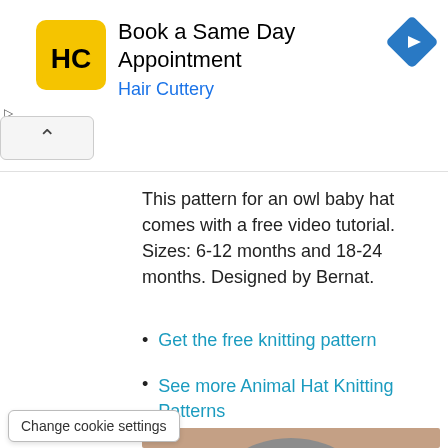[Figure (screenshot): Hair Cuttery advertisement banner with yellow HC logo, text 'Book a Same Day Appointment' and 'Hair Cuttery', and a blue diamond navigation arrow icon]
This pattern for an owl baby hat comes with a free video tutorial. Sizes: 6-12 months and 18-24 months. Designed by Bernat.
Get the free knitting pattern
See more Animal Hat Knitting Patterns
[Figure (photo): Photo of a grey knitted owl baby hat with large white crocheted eyes, black button pupils, and a yellow beak]
Change cookie settings